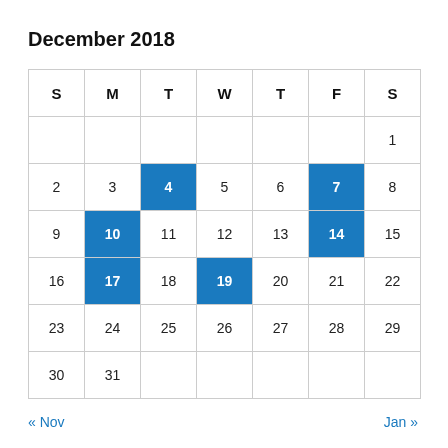December 2018
| S | M | T | W | T | F | S |
| --- | --- | --- | --- | --- | --- | --- |
|  |  |  |  |  |  | 1 |
| 2 | 3 | 4 | 5 | 6 | 7 | 8 |
| 9 | 10 | 11 | 12 | 13 | 14 | 15 |
| 16 | 17 | 18 | 19 | 20 | 21 | 22 |
| 23 | 24 | 25 | 26 | 27 | 28 | 29 |
| 30 | 31 |  |  |  |  |  |
« Nov
Jan »